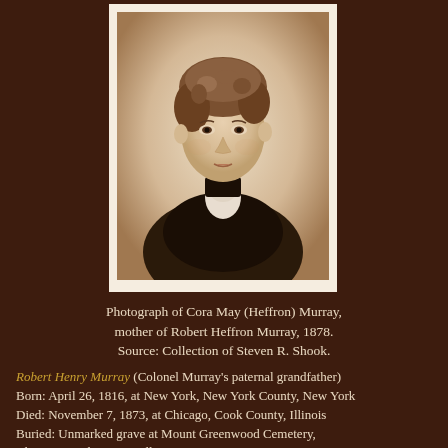[Figure (photo): Sepia-toned portrait photograph of a Victorian-era woman, Cora May (Heffron) Murray, taken in 1878. The woman has curly short hair and is wearing a dark high-collared dress with a white ruffled collar or bow. The photo has a white border/mat frame.]
Photograph of Cora May (Heffron) Murray, mother of Robert Heffron Murray, 1878. Source: Collection of Steven R. Shook.
Robert Henry Murray (Colonel Murray's paternal grandfather) Born: April 26, 1816, at New York, New York County, New York Died: November 7, 1873, at Chicago, Cook County, Illinois Buried: Unmarked grave at Mount Greenwood Cemetery, Chicago, Cook County, Illinois Married to Mary Furber Fisher on December 20, 1841 at Detroit, Wayne County, Michigan